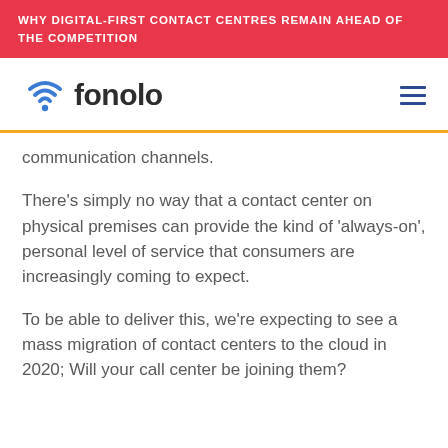WHY DIGITAL-FIRST CONTACT CENTRES REMAIN AHEAD OF THE COMPETITION
[Figure (logo): Fonolo logo with wifi/location pin icon in blue and the word 'fonolo' in dark text]
communication channels.
There’s simply no way that a contact center on physical premises can provide the kind of ‘always-on’, personal level of service that consumers are increasingly coming to expect.
To be able to deliver this, we’re expecting to see a mass migration of contact centers to the cloud in 2020; Will your call center be joining them?